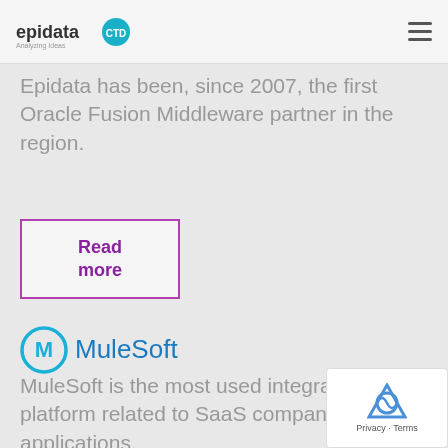epidata [logo] [navigation]
Epidata has been, since 2007, the first Oracle Fusion Middleware partner in the region.
Read more
[Figure (logo): MuleSoft logo — circular M icon in cyan/blue with MuleSoft text in blue]
MuleSoft is the most used integration platform related to SaaS companies' applications.
Read